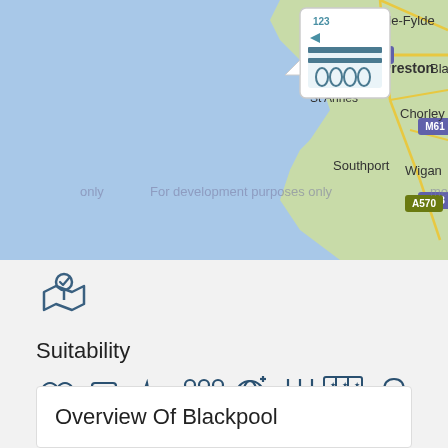[Figure (map): Map showing Blackpool area including Lytham St Annes, Southport, Preston, Chorley, Wigan, with motorway labels M55, M61, M58, M6, A570. A location pin with a colosseum icon is shown near Blackpool. Watermark reads 'For development purposes only'.]
[Figure (illustration): Location/map pin icon with a checkmark inside, representing suitability or location verification]
Suitability
[Figure (illustration): Row of travel suitability icons: flip flops, car, heartbeat/activity, group of people, globe with plus, restaurant/dining, hotel/stars grid, shopping bag]
Overview Of Blackpool